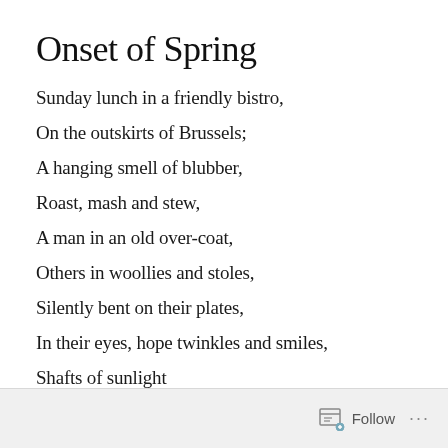Onset of Spring
Sunday lunch in a friendly bistro,
On the outskirts of Brussels;
A hanging smell of blubber,
Roast, mash and stew,
A man in an old over-coat,
Others in woollies and stoles,
Silently bent on their plates,
In their eyes, hope twinkles and smiles,
Shafts of sunlight
Follow ...